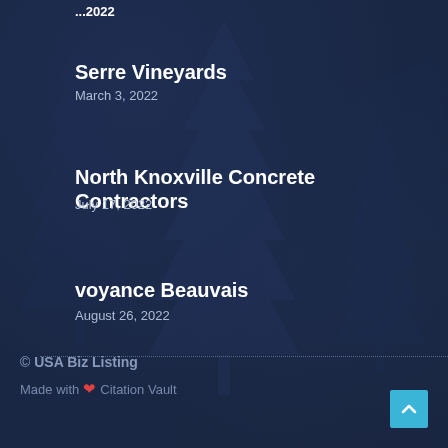...2022
Serre Vineyards
March 3, 2022
North Knoxville Concrete Contractors
July 17, 2022
voyance Beauvais
August 26, 2022
© USA Biz Listing
Made with ❤ Citation Vault